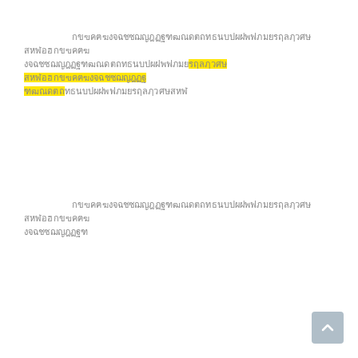[Thai/redacted text block 1 with highlighted portion]
[Thai/redacted text block 2]